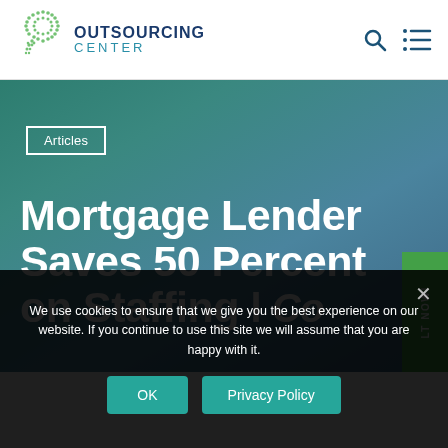OUTSOURCING CENTER
[Figure (logo): Outsourcing Center logo with green dot-grid sphere and blue/teal text reading OUTSOURCING CENTER]
Articles
Mortgage Lender Saves 50 Percent on Staffing l Co...
We use cookies to ensure that we give you the best experience on our website. If you continue to use this site we will assume that you are happy with it.
OK   Privacy Policy